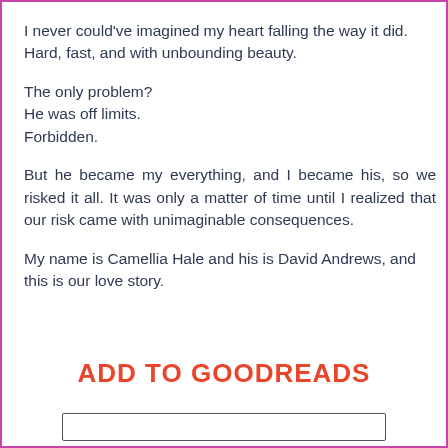I never could've imagined my heart falling the way it did. Hard, fast, and with unbounding beauty.
The only problem?
He was off limits.
Forbidden.
But he became my everything, and I became his, so we risked it all. It was only a matter of time until I realized that our risk came with unimaginable consequences.
My name is Camellia Hale and his is David Andrews, and this is our love story.
ADD TO GOODREADS